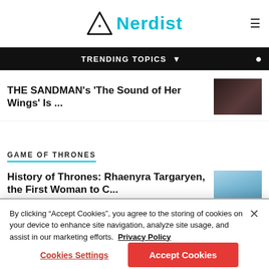Nerdist
TRENDING TOPICS
THE SANDMAN's 'The Sound of Her Wings' Is ...
GAME OF THRONES
History of Thrones: Rhaenyra Targaryen, the First Woman to C...
By clicking “Accept Cookies”, you agree to the storing of cookies on your device to enhance site navigation, analyze site usage, and assist in our marketing efforts. Privacy Policy
Cookies Settings
Accept Cookies